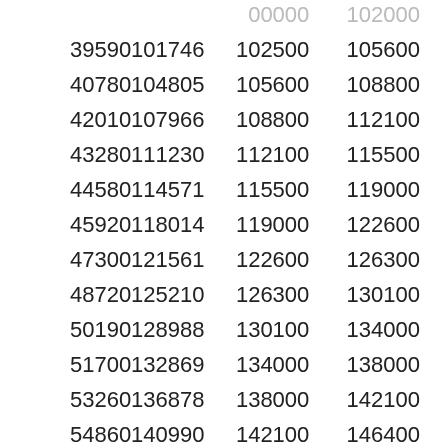|  | 00000 | 102000 |
| 39590101746 | 102500 | 105600 |
| 40780104805 | 105600 | 108800 |
| 42010107966 | 108800 | 112100 |
| 43280111230 | 112100 | 115500 |
| 44580114571 | 115500 | 119000 |
| 45920118014 | 119000 | 122600 |
| 47300121561 | 122600 | 126300 |
| 48720125210 | 126300 | 130100 |
| 50190128988 | 130100 | 134000 |
| 51700132869 | 134000 | 138000 |
| 53260136878 | 138000 | 142100 |
| 54860140990 | 142100 | 146400 |
| 56510145231 | 146400 | 150800 |
| 58210149600 | 150800 | 155300 |
| 59960154097 | 155300 | 160000 |
| 61760158723 | 160000 | 164800 |